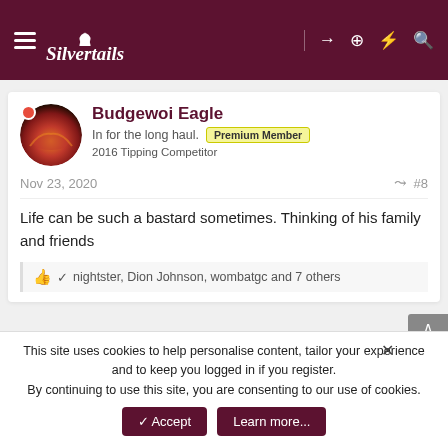Silvertails
Budgewoi Eagle
In for the long haul. Premium Member
2016 Tipping Competitor
Nov 23, 2020 #8
Life can be such a bastard sometimes. Thinking of his family and friends
👍 ✓ nightster, Dion Johnson, wombatgc and 7 others
This site uses cookies to help personalise content, tailor your experience and to keep you logged in if you register.
By continuing to use this site, you are consenting to our use of cookies.